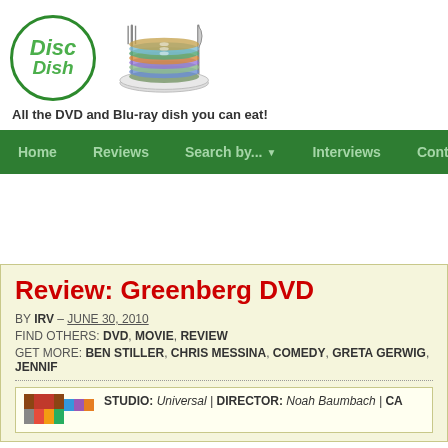[Figure (logo): Disc Dish website logo — green circle with 'Disc Dish' text in green italic font, next to an illustration of stacked DVDs on a plate with fork and knife]
All the DVD and Blu-ray dish you can eat!
Home | Reviews | Search by... | Interviews | Contests | Tod
Review: Greenberg DVD
BY IRV – JUNE 30, 2010
FIND OTHERS: DVD, MOVIE, REVIEW
GET MORE: BEN STILLER, CHRIS MESSINA, COMEDY, GRETA GERWIG, JENNIF
STUDIO: Universal | DIRECTOR: Noah Baumbach | CA